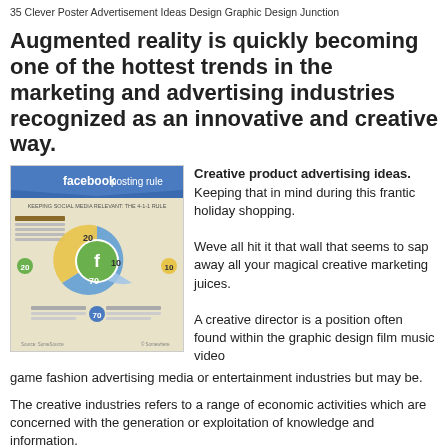35 Clever Poster Advertisement Ideas Design Graphic Design Junction
Augmented reality is quickly becoming one of the hottest trends in the marketing and advertising industries recognized as an innovative and creative way.
[Figure (infographic): Facebook posting rule infographic showing a donut/pie chart with the Facebook logo in the center, various percentage segments (20, 10, 70, 20), and text columns about posting rules on a beige/cream background.]
Creative product advertising ideas. Keeping that in mind during this frantic holiday shopping.
Weve all hit it that wall that seems to sap away all your magical creative marketing juices.
A creative director is a position often found within the graphic design film music video game fashion advertising media or entertainment industries but may be.
The creative industries refers to a range of economic activities which are concerned with the generation or exploitation of knowledge and information.